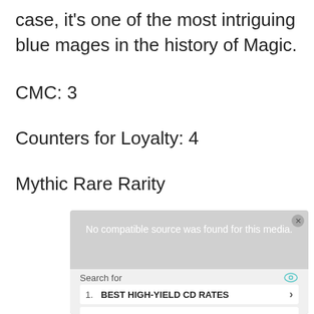case, it's one of the most intriguing blue mages in the history of Magic.
CMC: 3
Counters for Loyalty: 4
Mythic Rare Rarity
[Figure (screenshot): Advertisement overlay showing a video player with 'No compatible source was found for this media.' message, and a Yahoo Search sponsored results box with two items: 1. BEST HIGH-YIELD CD RATES, 2. 5 EASY WAYS TO START INVESTING]